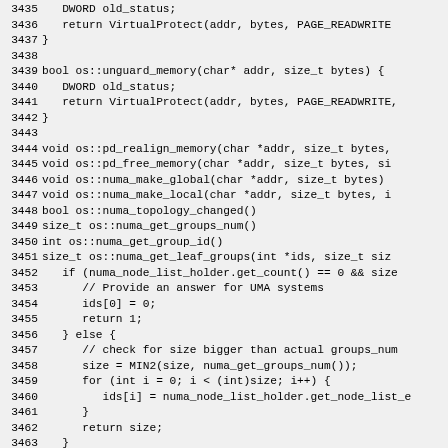Source code listing lines 3435-3464, showing C++ OS memory management functions including unguard_memory, pd_realign_memory, pd_free_memory, numa_make_global, numa_make_local, numa_topology_changed, numa_get_groups_num, numa_get_group_id, numa_get_leaf_groups with implementation details.